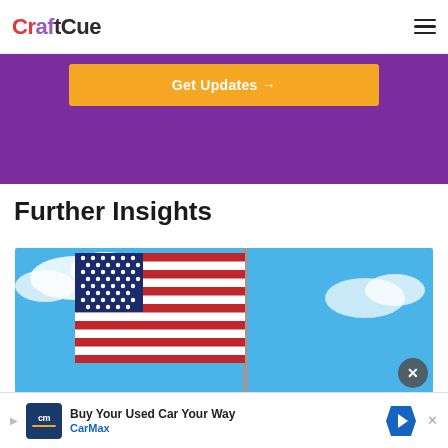CraftCue
[Figure (screenshot): Purple banner with orange 'Get Updates →' button]
Further Insights
[Figure (photo): American flag waving against a blue sky with clouds]
[Figure (screenshot): CarMax advertisement banner: 'Buy Your Used Car Your Way' with CarMax logo and navigation arrow icon]